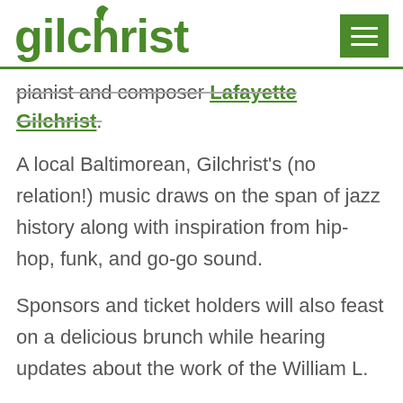gilchrist
pianist and composer Lafayette Gilchrist.
A local Baltimorean, Gilchrist's (no relation!) music draws on the span of jazz history along with inspiration from hip-hop, funk, and go-go sound.
Sponsors and ticket holders will also feast on a delicious brunch while hearing updates about the work of the William L.